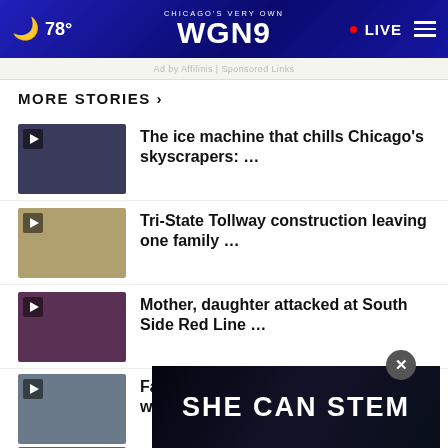Chicago's Very Own WGN9 — 78° — LIVE
Ad by Affilinis | Sponsored Links
MORE STORIES ›
The ice machine that chills Chicago's skyscrapers: …
Tri-State Tollway construction leaving one family …
Mother, daughter attacked at South Side Red Line …
Fallen officer Ella French honored with canine statue …
rideshare giant Lyft
[Figure (screenshot): SHE CAN STEM advertisement overlay with close button]